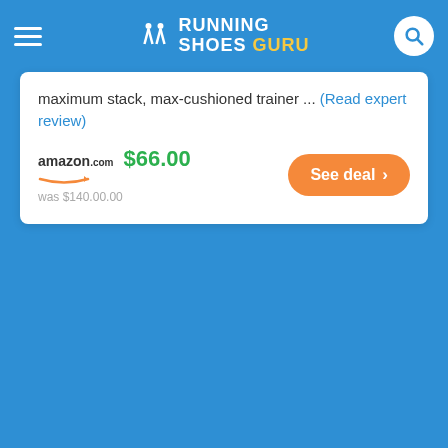RUNNING SHOES GURU
maximum stack, max-cushioned trainer ... (Read expert review)
amazon.com $66.00 was $140.00.00 See deal
READERS REVIEWS
Msp